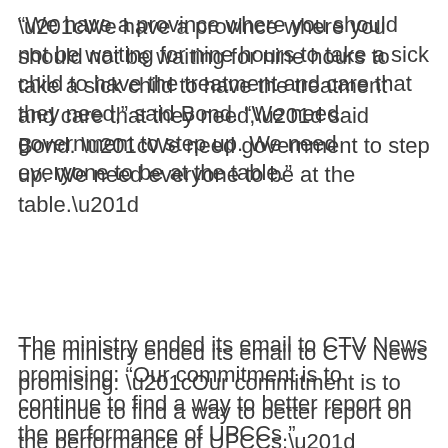“We have a province where you should not be waiting for nine hours to take a sick child to have the treatment and care that they need,” said Bond. “We need government to step up. We need everyone to be at the table.”
The ministry ended its email to CTV News promising: “Our commitment is to continue to find a way to better report on the performance of UPCCs.”
RELATED IMAGES
[Figure (photo): Exterior photo of a Vancouver Coastal Health building storefront, showing large blue and green lettering on a glass window, with a grey/overcast sky and bare tree branches visible on the right side.]